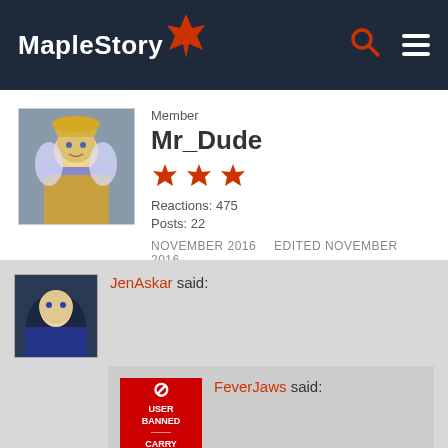MapleStory
Member
Mr_Dude
Reactions: 475
Posts: 22
NOVEMBER 2016   EDITED NOVEMBER 2016
JenAskar said:
FeverJaws said:
JenAskar said: